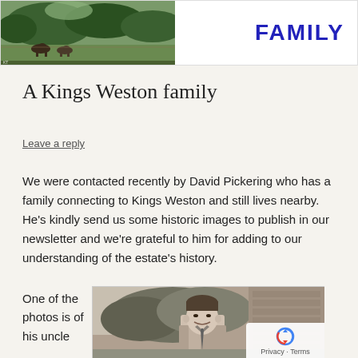[Figure (photo): Top banner with a landscape/countryside photo on the left showing horses grazing in a field with trees, and bold blue text 'FAMILY' on the right against white background]
A Kings Weston family
Leave a reply
We were contacted recently by David Pickering who has a family connecting to Kings Weston and still lives nearby. He’s kindly send us some historic images to publish in our newsletter and we’re grateful to him for adding to our understanding of the estate’s history.
One of the photos is of his uncle
[Figure (photo): Black and white historic photograph of a man (David Pickering's uncle) smiling, standing outdoors with trees and a stone wall visible behind him]